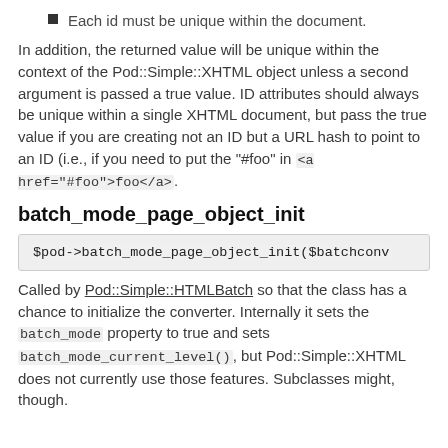Each id must be unique within the document.
In addition, the returned value will be unique within the context of the Pod::Simple::XHTML object unless a second argument is passed a true value. ID attributes should always be unique within a single XHTML document, but pass the true value if you are creating not an ID but a URL hash to point to an ID (i.e., if you need to put the "#foo" in <a href="#foo">foo</a>.
batch_mode_page_object_init
$pod->batch_mode_page_object_init($batchconv
Called by Pod::Simple::HTMLBatch so that the class has a chance to initialize the converter. Internally it sets the batch_mode property to true and sets batch_mode_current_level(), but Pod::Simple::XHTML does not currently use those features. Subclasses might, though.